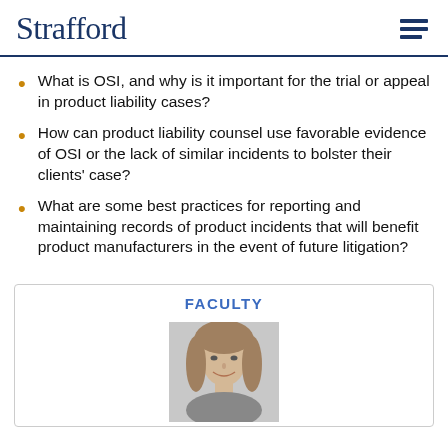Strafford
What is OSI, and why is it important for the trial or appeal in product liability cases?
How can product liability counsel use favorable evidence of OSI or the lack of similar incidents to bolster their clients' case?
What are some best practices for reporting and maintaining records of product incidents that will benefit product manufacturers in the event of future litigation?
FACULTY
[Figure (photo): Headshot photo of a woman with long blonde hair, grayscale]